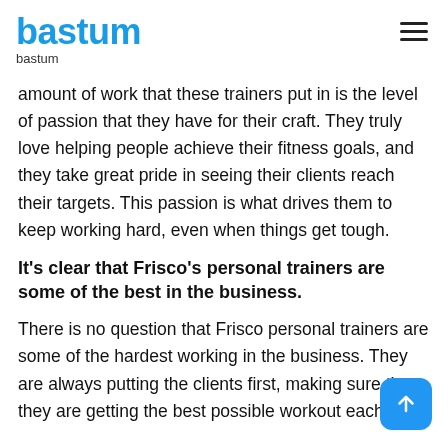bastum
bastum
amount of work that these trainers put in is the level of passion that they have for their craft. They truly love helping people achieve their fitness goals, and they take great pride in seeing their clients reach their targets. This passion is what drives them to keep working hard, even when things get tough.
It's clear that Frisco's personal trainers are some of the best in the business.
There is no question that Frisco personal trainers are some of the hardest working in the business. They are always putting the clients first, making sure that they are getting the best possible workout each and